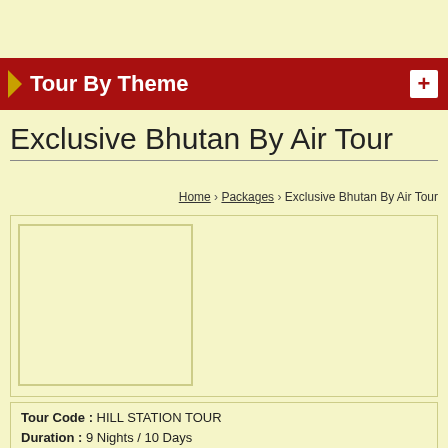Tour By Theme
Exclusive Bhutan By Air Tour
Home › Packages › Exclusive Bhutan By Air Tour
[Figure (photo): Placeholder image area for tour photo]
Tour Code : HILL STATION TOUR
Duration : 9 Nights / 10 Days
Destination Covered : Thimphu, Paro, Punakha
Starting From : INR 22490 Per Person
Special Offer : NO ANY SPECIAL DISCOUNT OFFER.